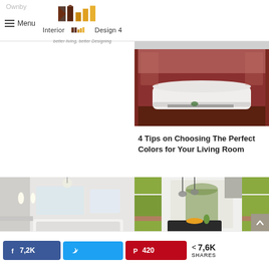Menu | Interior Design 4 | better living, better Designing
[Figure (photo): Living room with white sofa against dark red wall]
4 Tips on Choosing The Perfect Colors for Your Living Room
[Figure (photo): Modern white bathroom with bathtub]
[Figure (photo): Green kitchen with island and pendant lights]
7,2K  420  7,6K SHARES